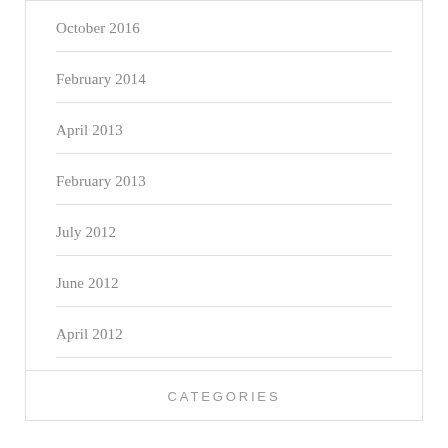October 2016
February 2014
April 2013
February 2013
July 2012
June 2012
April 2012
March 2012
CATEGORIES